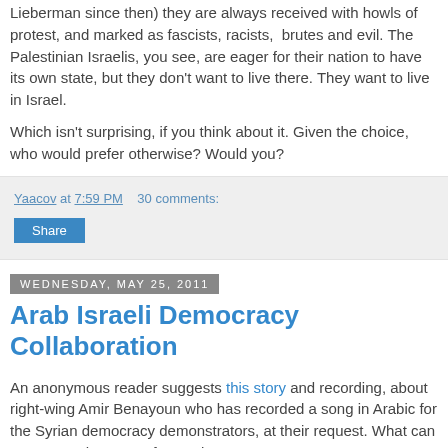Lieberman since then) they are always received with howls of protest, and marked as fascists, racists, brutes and evil. The Palestinian Israelis, you see, are eager for their nation to have its own state, but they don't want to live there. They want to live in Israel.
Which isn't surprising, if you think about it. Given the choice, who would prefer otherwise? Would you?
Yaacov at 7:59 PM    30 comments:
Share
Wednesday, May 25, 2011
Arab Israeli Democracy Collaboration
An anonymous reader suggests this story and recording, about right-wing Amir Benayoun who has recorded a song in Arabic for the Syrian democracy demonstrators, at their request. What can I say? Hee hee sort of sums it up.